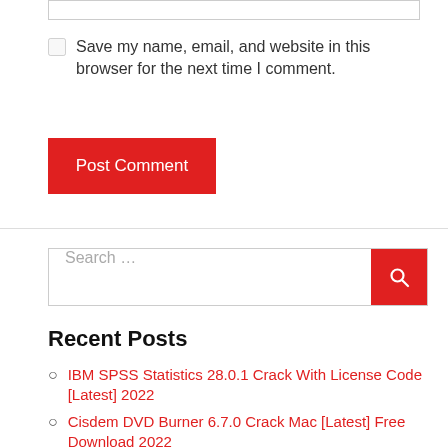Save my name, email, and website in this browser for the next time I comment.
Post Comment
Search …
Recent Posts
IBM SPSS Statistics 28.0.1 Crack With License Code [Latest] 2022
Cisdem DVD Burner 6.7.0 Crack Mac [Latest] Free Download 2022